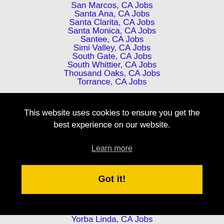San Marcos, CA Jobs
Santa Ana, CA Jobs
Santa Clarita, CA Jobs
Santa Monica, CA Jobs
Santee, CA Jobs
Simi Valley, CA Jobs
South Gate, CA Jobs
South Whittier, CA Jobs
Thousand Oaks, CA Jobs
Torrance, CA Jobs
This website uses cookies to ensure you get the best experience on our website.
Learn more
Got it!
Yorba Linda, CA Jobs